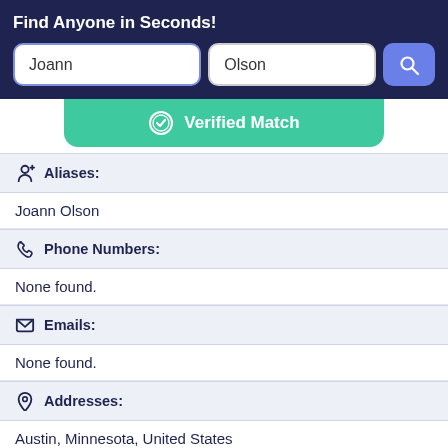Find Anyone in Seconds!
Joann
Olson
[Figure (infographic): Verified Match banner with checkmark badge icon in green]
Aliases:
Joann Olson
Phone Numbers:
None found.
Emails:
None found.
Addresses:
Austin, Minnesota, United States
Record Overview: